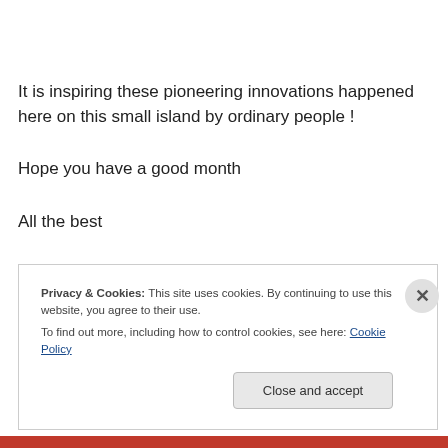It is inspiring these pioneering innovations happened here on this small island by ordinary people !
Hope you have a good month
All the best
Mike
Privacy & Cookies: This site uses cookies. By continuing to use this website, you agree to their use.
To find out more, including how to control cookies, see here: Cookie Policy
Close and accept